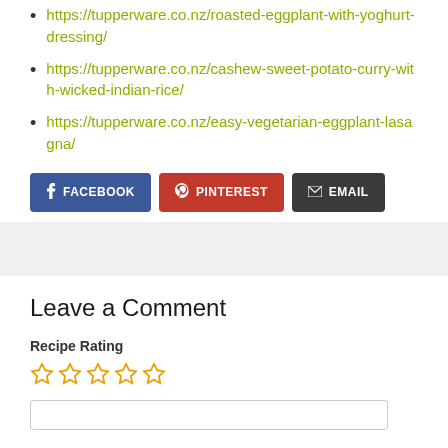https://tupperware.co.nz/roasted-eggplant-with-yoghurt-dressing/
https://tupperware.co.nz/cashew-sweet-potato-curry-with-wicked-indian-rice/
https://tupperware.co.nz/easy-vegetarian-eggplant-lasagna/
FACEBOOK | PINTEREST | EMAIL
Leave a Comment
Recipe Rating
★ ★ ★ ★ ★ (empty stars)